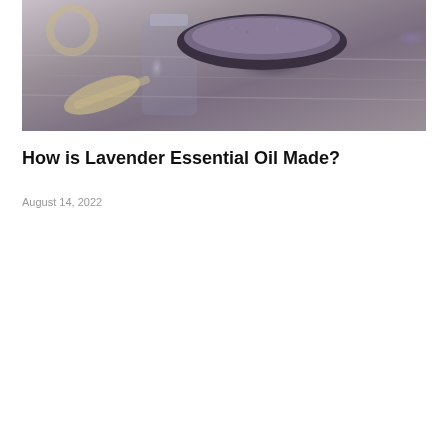[Figure (photo): Lavender essential oil in a glass bottle beside a dark bowl filled with dried lavender flowers, a wooden scoop with lavender, and lavender sprigs on a rustic wooden surface.]
How is Lavender Essential Oil Made?
August 14, 2022